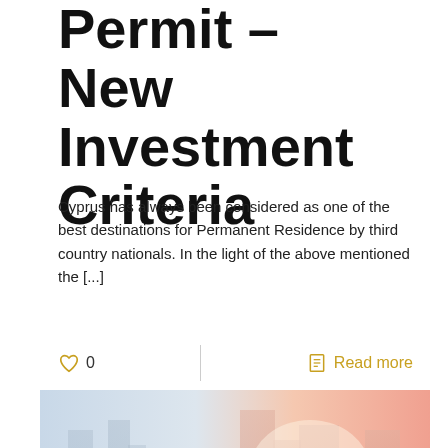Permit – New Investment Criteria
Cyprus has always been considered as one of the best destinations for Permanent Residence by third country nationals. In the light of the above mentioned the [...]
[Figure (other): Like heart icon with count 0, divider line, document icon and Read more link]
[Figure (photo): Abstract city skyline photo with blue line chart overlay, warm orange and cool blue tones, showing financial/investment theme with an upward arrow back-to-top button in yellow]